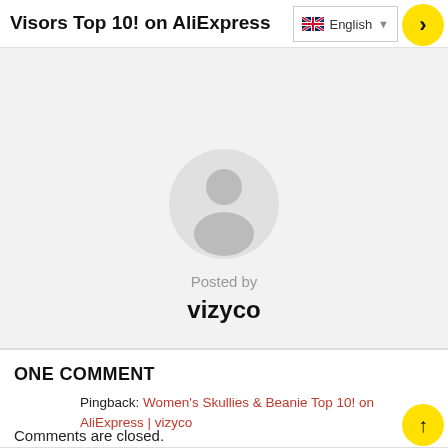Visors Top 10! on AliExpress
[Figure (illustration): Circular user avatar placeholder with gray silhouette of a person, 'Posted by' label and username 'vizyco' below]
ONE COMMENT
Pingback: Women's Skullies & Beanie Top 10! on AliExpress | vizyco
Comments are closed.